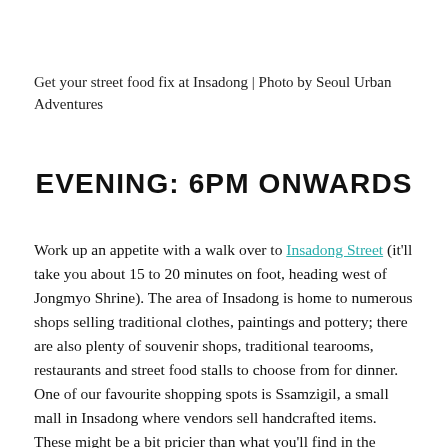Get your street food fix at Insadong | Photo by Seoul Urban Adventures
EVENING: 6PM ONWARDS
Work up an appetite with a walk over to Insadong Street (it'll take you about 15 to 20 minutes on foot, heading west of Jongmyo Shrine). The area of Insadong is home to numerous shops selling traditional clothes, paintings and pottery; there are also plenty of souvenir shops, traditional tearooms, restaurants and street food stalls to choose from for dinner. One of our favourite shopping spots is Ssamzigil, a small mall in Insadong where vendors sell handcrafted items. These might be a bit pricier than what you'll find in the souvenirs shops but they're far better quality and ...